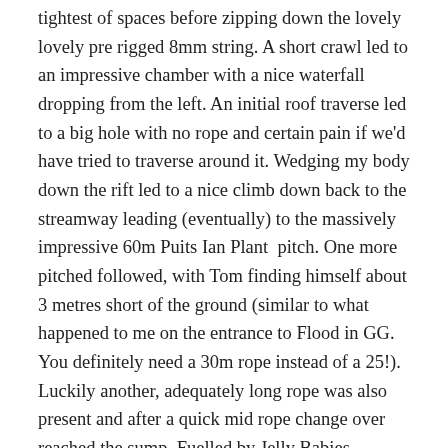tightest of spaces before zipping down the lovely lovely pre rigged 8mm string. A short crawl led to an impressive chamber with a nice waterfall dropping from the left. An initial roof traverse led to a big hole with no rope and certain pain if we'd have tried to traverse around it. Wedging my body down the rift led to a nice climb down back to the streamway leading (eventually) to the massively impressive 60m Puits Ian Plant pitch. One more pitched followed, with Tom finding himself about 3 metres short of the ground (similar to what happened to me on the entrance to Flood in GG. You definitely need a 30m rope instead of a 25!). Luckily another, adequately long rope was also present and after a quick mid rope change over reached the sump. Fuelled by Jelly Babies courtesy of the absent Mackrill we said our hellos and goodbyes to the sump and sped back out. It seemed to take no time at all to get out and back to the first pitch, despite much more *thrutching in